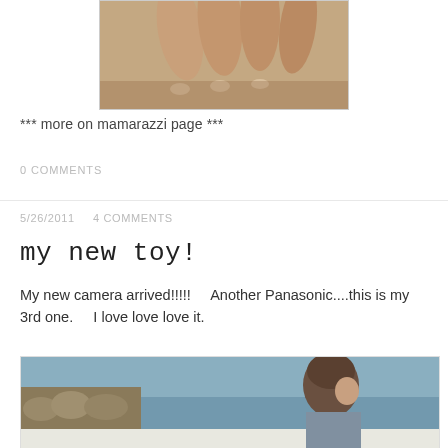[Figure (photo): Close-up photo of fingers/hand holding something, shown partially at top of page]
*** more on mamarazzi page ***
0 COMMENTS
5/26/2011   4 COMMENTS
my new toy!
My new camera arrived!!!!!    Another Panasonic....this is my 3rd one.    I love love love it.
[Figure (photo): Photo of a young boy in profile view near water with rocky shore in background]